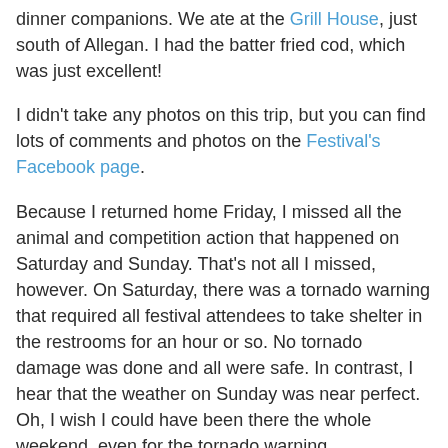dinner companions. We ate at the Grill House, just south of Allegan. I had the batter fried cod, which was just excellent!
I didn't take any photos on this trip, but you can find lots of comments and photos on the Festival's Facebook page.
Because I returned home Friday, I missed all the animal and competition action that happened on Saturday and Sunday. That's not all I missed, however. On Saturday, there was a tornado warning that required all festival attendees to take shelter in the restrooms for an hour or so. No tornado damage was done and all were safe. In contrast, I hear that the weather on Sunday was near perfect. Oh, I wish I could have been there the whole weekend, even for the tornado warning.
I did get to shop a bit on Friday. With limited funds, I purchased some Eucalan, some lovely Teeswater wool roving, and some washed Navajo Churro fleece. I also picked up fleeces that I'd had Carol Wagner of Hidden Valley Farm & Woolen Mill card into roving for me. Earlier this year, I had bought 3 fleeces from Marie Glaesemann in Duluth,